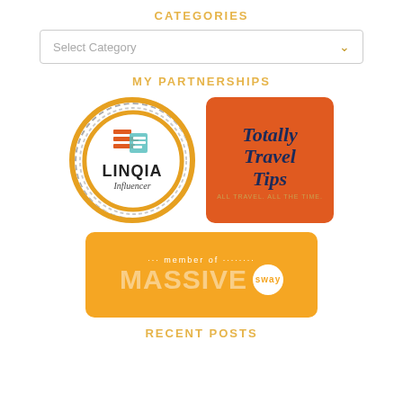CATEGORIES
[Figure (screenshot): A dropdown select box with 'Select Category' placeholder text and a gold chevron arrow on the right]
MY PARTNERSHIPS
[Figure (logo): Linqia Influencer circular badge logo with orange border, teal and orange icon, bold LINQIA text, and italic Influencer subtitle]
[Figure (logo): Totally Travel Tips logo on orange background with stylized italic dark blue text and 'ALL TRAVEL. ALL THE TIME.' tagline]
[Figure (logo): Member of Massive Sway orange rectangular badge with white text and circular Sway badge]
RECENT POSTS